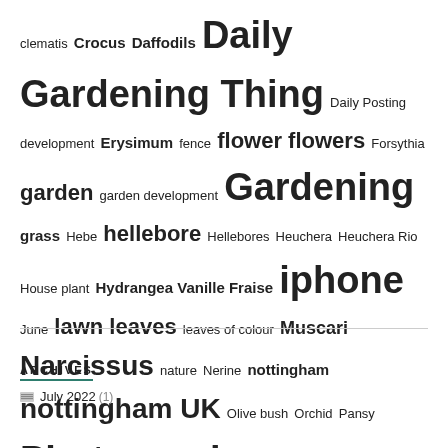clematis Crocus Daffodils Daily Gardening Thing Daily Posting development Erysimum fence flower flowers Forsythia garden garden development Gardening grass Hebe hellebore Hellebores Heuchera Heuchera Rio House plant Hydrangea Vanille Fraise iphone June lawn leaves leaves of colour Muscari Narcissus nature Nerine nottingham nottingham UK Olive bush Orchid Pansy Photography pink plant plants Post of the day Quotes Rain red Rosa rose Shed shrubs Six on Saturday Sony RX10IV SoS spirea bridal wreath spring Summer tree trees Tulips uk Viburnum viola Weather Weekly weather forecast winter Winter jasmine
ARCHIVES
July 2022 (1)